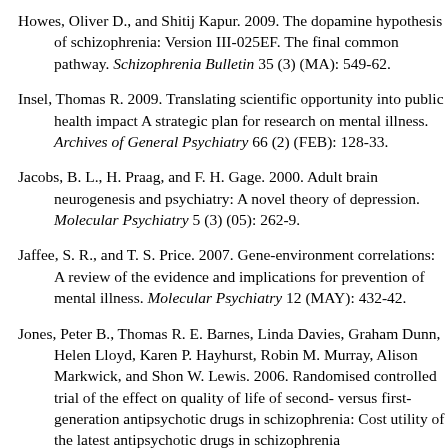Howes, Oliver D., and Shitij Kapur. 2009. The dopamine hypothesis of schizophrenia: Version III-025EF. The final common pathway. Schizophrenia Bulletin 35 (3) (MA): 549-62.
Insel, Thomas R. 2009. Translating scientific opportunity into public health impact A strategic plan for research on mental illness. Archives of General Psychiatry 66 (2) (FEB): 128-33.
Jacobs, B. L., H. Praag, and F. H. Gage. 2000. Adult brain neurogenesis and psychiatry: A novel theory of depression. Molecular Psychiatry 5 (3) (05): 262-9.
Jaffee, S. R., and T. S. Price. 2007. Gene-environment correlations: A review of the evidence and implications for prevention of mental illness. Molecular Psychiatry 12 (MAY): 432-42.
Jones, Peter B., Thomas R. E. Barnes, Linda Davies, Graham Dunn, Helen Lloyd, Karen P. Hayhurst, Robin M. Murray, Alison Markwick, and Shon W. Lewis. 2006. Randomised controlled trial of the effect on quality of life of second- versus first-generation antipsychotic drugs in schizophrenia: Cost utility of the latest antipsychotic drugs in schizophrenia...